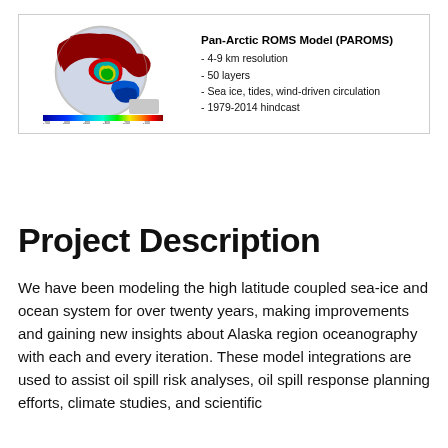[Figure (map): Pan-Arctic ROMS Model (PAROMS) map showing ocean bathymetry/circulation across the Arctic region with a colorbar ranging from blue (deep) to red (shallow), alongside model specifications: 4-9 km resolution, 50 layers, sea ice/tides/wind-driven circulation, 1979-2014 hindcast.]
Project Description
We have been modeling the high latitude coupled sea-ice and ocean system for over twenty years, making improvements and gaining new insights about Alaska region oceanography with each and every iteration. These model integrations are used to assist oil spill risk analyses, oil spill response planning efforts, climate studies, and scientific